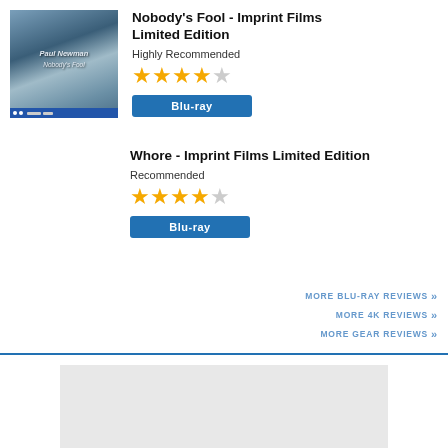[Figure (photo): DVD/Blu-ray cover for Nobody's Fool - Imprint Films Limited Edition, showing an older man with a cap outdoors]
Nobody's Fool - Imprint Films Limited Edition
Highly Recommended
[Figure (other): 4 filled stars and 1 empty star rating]
Blu-ray
Whore - Imprint Films Limited Edition
Recommended
[Figure (other): 4 filled stars and 1 empty star rating]
Blu-ray
MORE BLU-RAY REVIEWS »
MORE 4K REVIEWS »
MORE GEAR REVIEWS »